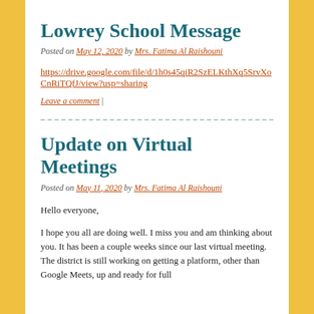Lowrey School Message
Posted on May 12, 2020 by Mrs. Fatima Al Raishouni
https://drive.google.com/file/d/1h0s45qiR2SzELKthXq5SrvXoCnRiTQfJ/view?usp=sharing
Leave a comment |
Update on Virtual Meetings
Posted on May 11, 2020 by Mrs. Fatima Al Raishouni
Hello everyone,
I hope you all are doing well. I miss you and am thinking about you. It has been a couple weeks since our last virtual meeting. The district is still working on getting a platform, other than Google Meets, up and ready for full